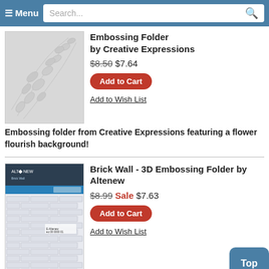Menu | Search...
[Figure (photo): Embossing folder product image showing leaf/floral flourish pattern in silver/grey relief]
Embossing Folder by Creative Expressions
$8.50 $7.64
Add to Cart
Add to Wish List
Embossing folder from Creative Expressions featuring a flower flourish background!
[Figure (photo): Brick Wall 3D Embossing Folder product image by Altenew, showing brick texture pattern]
Brick Wall - 3D Embossing Folder by Altenew
$8.99 Sale $7.63
Add to Cart
Add to Wish List
Top